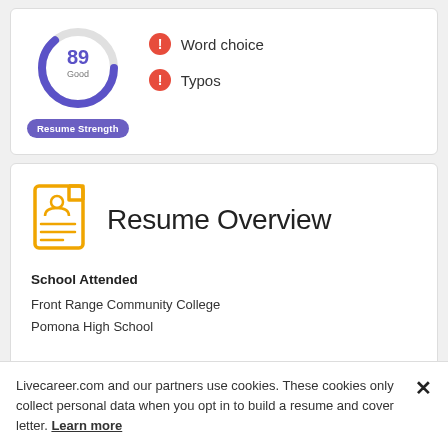[Figure (donut-chart): Donut chart showing score 89 Good, Resume Strength metric]
Word choice
Typos
Resume Strength
Resume Overview
School Attended
Front Range Community College
Pomona High School
Livecareer.com and our partners use cookies. These cookies only collect personal data when you opt in to build a resume and cover letter. Learn more